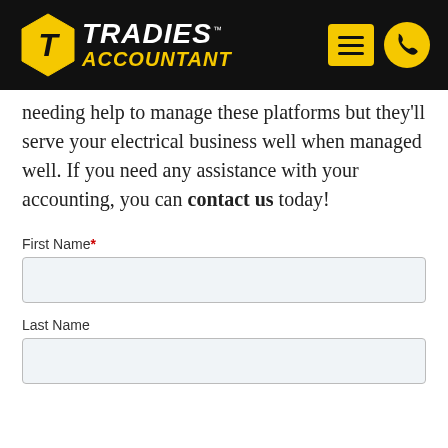[Figure (logo): Tradies Accountant logo with yellow hexagon T icon, white TRADIES text and yellow ACCOUNTANT text on black header bar, with yellow menu and phone icons]
needing help to manage these platforms but they'll serve your electrical business well when managed well. If you need any assistance with your accounting, you can contact us today!
First Name*
Last Name